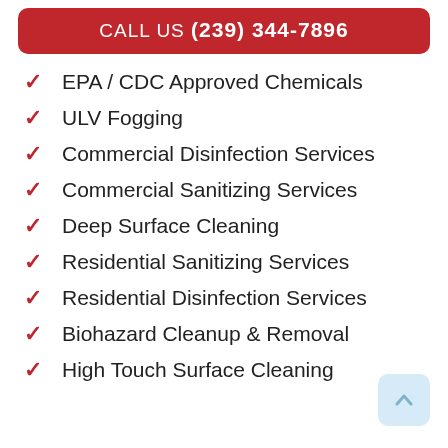CALL US (239) 344-7896
EPA / CDC Approved Chemicals
ULV Fogging
Commercial Disinfection Services
Commercial Sanitizing Services
Deep Surface Cleaning
Residential Sanitizing Services
Residential Disinfection Services
Biohazard Cleanup & Removal
High Touch Surface Cleaning